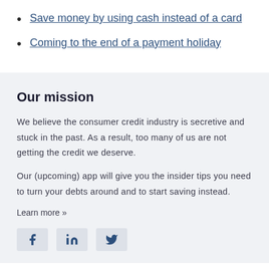Save money by using cash instead of a card
Coming to the end of a payment holiday
Our mission
We believe the consumer credit industry is secretive and stuck in the past. As a result, too many of us are not getting the credit we deserve.
Our (upcoming) app will give you the insider tips you need to turn your debts around and to start saving instead.
Learn more »